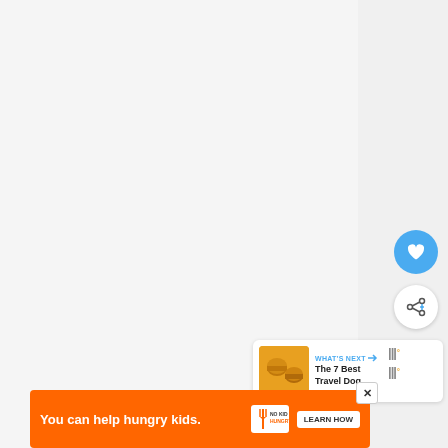[Figure (screenshot): UI screenshot showing a mostly blank light gray page with floating action buttons (heart/favorite and share), a 'What's Next' recommendation card, tally-mark style icons, and an advertisement banner at the bottom.]
WHAT'S NEXT → The 7 Best Travel Dog...
You can help hungry kids. NO KID HUNGRY LEARN HOW